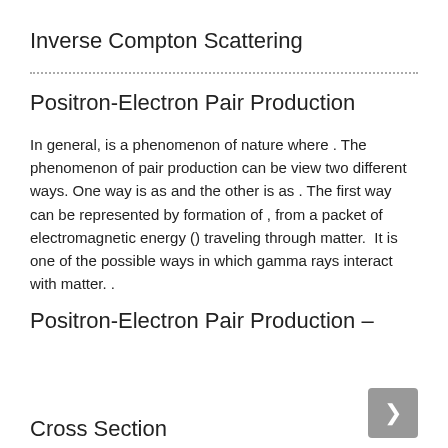Inverse Compton Scattering
Positron-Electron Pair Production
In general, is a phenomenon of nature where . The phenomenon of pair production can be view two different ways. One way is as and the other is as . The first way can be represented by formation of , from a packet of electromagnetic energy () traveling through matter.  It is one of the possible ways in which gamma rays interact with matter. .
Positron-Electron Pair Production –
Cross Section